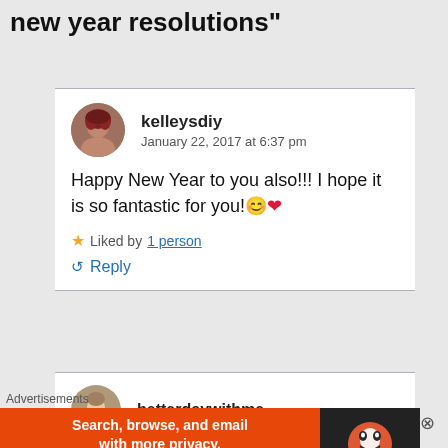new year resolutions"
[Figure (photo): Circular avatar photo of kelleysdiy commenter, woman with red hair]
kelleysdiy
January 22, 2017 at 6:37 pm
Happy New Year to you also!!! I hope it is so fantastic for you! 😊 ❤
★ Liked by 1 person
↺ Reply
[Figure (photo): Circular avatar photo of betterdaywithme commenter, person with short hair]
betterdaywithme
Advertisements
[Figure (screenshot): DuckDuckGo advertisement banner: Search, browse, and email with more privacy. All in One Free App]